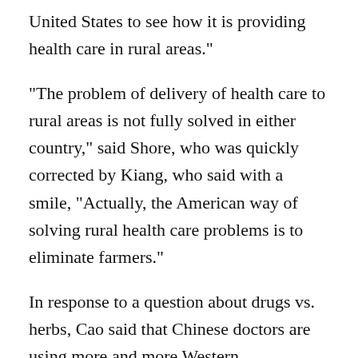United States to see how it is providing health care in rural areas."
"The problem of delivery of health care to rural areas is not fully solved in either country," said Shore, who was quickly corrected by Kiang, who said with a smile, "Actually, the American way of solving rural health care problems is to eliminate farmers."
In response to a question about drugs vs. herbs, Cao said that Chinese doctors are using more and more Western technologies and pharmaceuticals, which is good for the Chinese people. On the other hand, he said, drugs from foreign companies are increasing medical costs. "I think the U.S. has a similar problem."